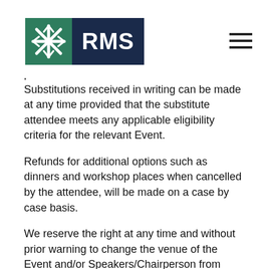[Figure (logo): RMS logo with green snowflake icon on left and dark navy RMS text block on right]
less than one month prior to event or for non-attendance. If cancellation by the delegate [before] the event - the [delegate is entitled] to a refund of fees paid less 10% administration fee. Substitutions received in writing can be made at any time provided that the substitute attendee meets any applicable eligibility criteria for the relevant Event.
Refunds for additional options such as dinners and workshop places when cancelled by the attendee, will be made on a case by case basis.
We reserve the right at any time and without prior warning to change the venue of the Event and/or Speakers/Chairperson from those described in the programme. We also reserve the right in our absolute discretion, to cancel your booking where we need to do so due to circumstances outside of our control (including, but not limited to, situations where